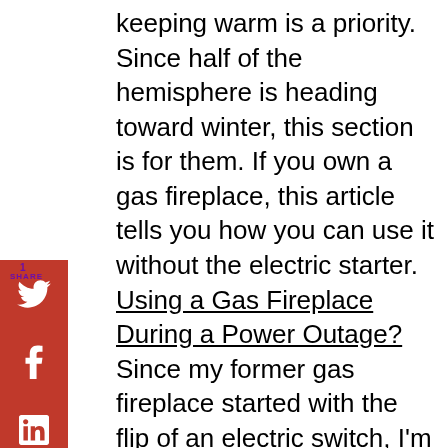keeping warm is a priority. Since half of the hemisphere is heading toward winter, this section is for them. If you own a gas fireplace, this article tells you how you can use it without the electric starter. Using a Gas Fireplace During a Power Outage? Since my former gas fireplace started with the flip of an electric switch, I'm not familiar with the type mentioned in this article.

The following article discusses safely using a tabular fireplace, a gas fireplace, or a wood burner stove for warmth in a power outage. What to Do in a Power Outage and How Your